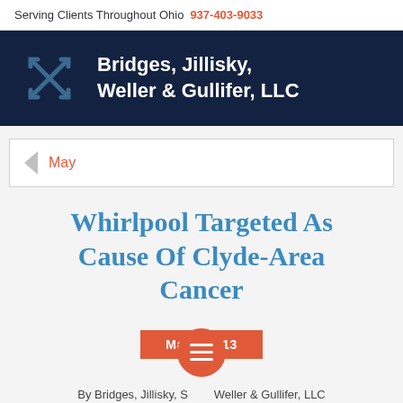Serving Clients Throughout Ohio  937-403-9033
[Figure (logo): Bridges, Jillisky, Weller & Gullifer, LLC logo — dark navy banner with geometric cross/arrow icon and firm name in white bold text]
May
Whirlpool Targeted As Cause Of Clyde-Area Cancer
May 2013
By Bridges, Jillisky, S... Weller & Gullifer, LLC